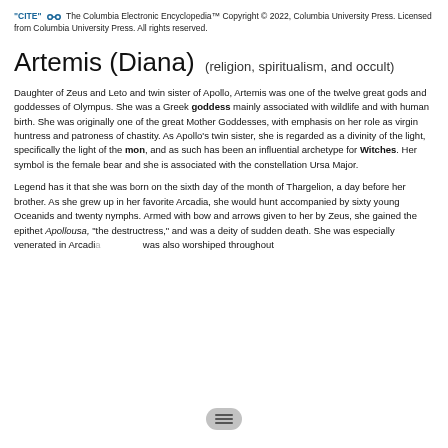"CITE" [link icon] The Columbia Electronic Encyclopedia™ Copyright © 2022, Columbia University Press. Licensed from Columbia University Press. All rights reserved.
Artemis (Diana)  (religion, spiritualism, and occult)
Daughter of Zeus and Leto and twin sister of Apollo, Artemis was one of the twelve great gods and goddesses of Olympus. She was a Greek goddess mainly associated with wildlife and with human birth. She was originally one of the great Mother Goddesses, with emphasis on her role as virgin huntress and patroness of chastity. As Apollo's twin sister, she is regarded as a divinity of the light, specifically the light of the mon, and as such has been an influential archetype for Witches. Her symbol is the female bear and she is associated with the constellation Ursa Major.
Legend has it that she was born on the sixth day of the month of Thargelion, a day before her brother. As she grew up in her favorite Arcadia, she would hunt accompanied by sixty young Oceanids and twenty nymphs. Armed with bow and arrows given to her by Zeus, she gained the epithet Apollousa, "the destructress," and was a deity of sudden death. She was especially venerated in Arcadia and was also worshiped throughout